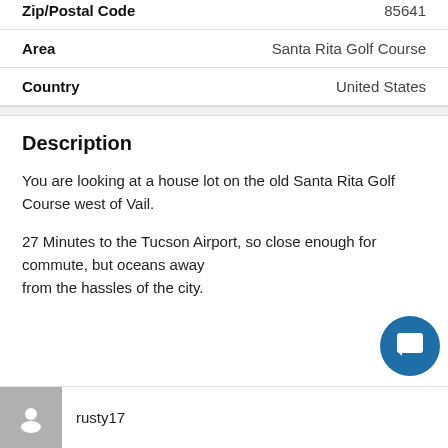| Field | Value |
| --- | --- |
| Zip/Postal Code | 85641 |
| Area | Santa Rita Golf Course |
| Country | United States |
Description
You are looking at a house lot on the old Santa Rita Golf Course west of Vail.

27 Minutes to the Tucson Airport, so close enough for commute, but oceans away from the hassles of the city.
rusty17